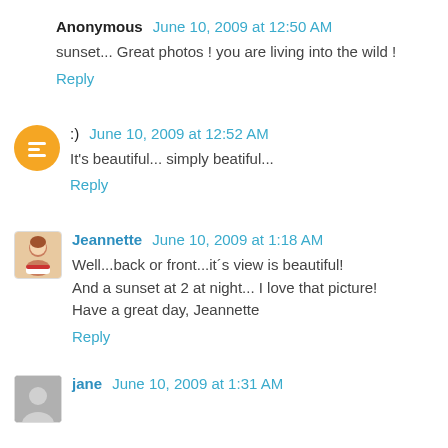Anonymous  June 10, 2009 at 12:50 AM
sunset... Great photos ! you are living into the wild !
Reply
;)  June 10, 2009 at 12:52 AM
It's beautiful... simply beatiful...
Reply
Jeannette  June 10, 2009 at 1:18 AM
Well...back or front...it´s view is beautiful!
And a sunset at 2 at night... I love that picture!
Have a great day, Jeannette
Reply
jane  June 10, 2009 at 1:31 AM